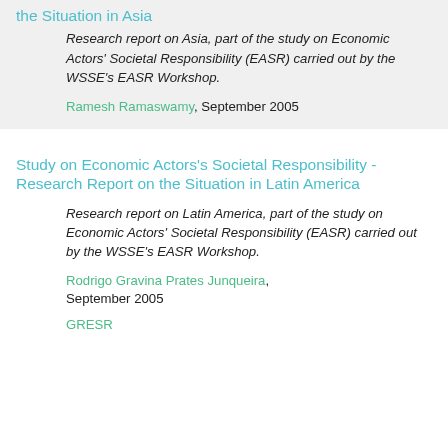the Situation in Asia
Research report on Asia, part of the study on Economic Actors' Societal Responsibility (EASR) carried out by the WSSE's EASR Workshop.
Ramesh Ramaswamy, September 2005
Study on Economic Actors's Societal Responsibility - Research Report on the Situation in Latin America
Research report on Latin America, part of the study on Economic Actors' Societal Responsibility (EASR) carried out by the WSSE's EASR Workshop.
Rodrigo Gravina Prates Junqueira, September 2005
GRESR